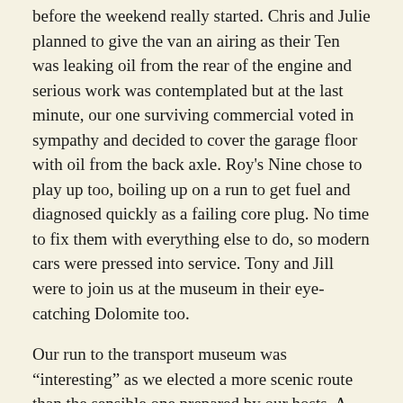before the weekend really started. Chris and Julie planned to give the van an airing as their Ten was leaking oil from the rear of the engine and serious work was contemplated but at the last minute, our one surviving commercial voted in sympathy and decided to cover the garage floor with oil from the back axle. Roy's Nine chose to play up too, boiling up on a run to get fuel and diagnosed quickly as a failing core plug. No time to fix them with everything else to do, so modern cars were pressed into service. Tony and Jill were to join us at the museum in their eye-catching Dolomite too.
Our run to the transport museum was “interesting” as we elected a more scenic route than the sensible one prepared by our hosts. A combination of stupidity and ignoring the sat nav led us down lanes in the Norfolk countryside that were single vehicle tracks and had grass growing in the middle. It seemed to take ages but we arrived, still in good humour to meet the others and the museum was really worth the look.
Run wholly by volunteers, Roy and Jenny had talked them in